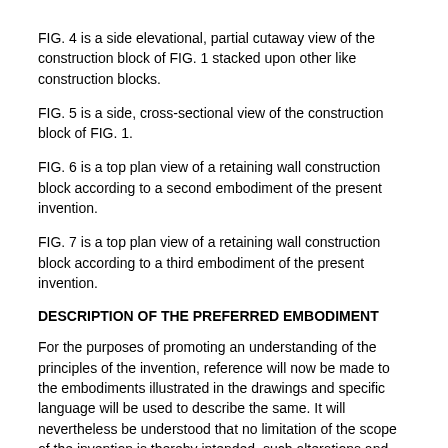FIG. 4 is a side elevational, partial cutaway view of the construction block of FIG. 1 stacked upon other like construction blocks.
FIG. 5 is a side, cross-sectional view of the construction block of FIG. 1.
FIG. 6 is a top plan view of a retaining wall construction block according to a second embodiment of the present invention.
FIG. 7 is a top plan view of a retaining wall construction block according to a third embodiment of the present invention.
DESCRIPTION OF THE PREFERRED EMBODIMENT
For the purposes of promoting an understanding of the principles of the invention, reference will now be made to the embodiments illustrated in the drawings and specific language will be used to describe the same. It will nevertheless be understood that no limitation of the scope of the invention is thereby intended, such alterations and further modifications in the illustrated device, and such